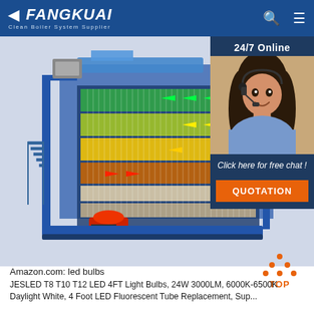FANGKUAI Clean Boiler System Supplier
[Figure (photo): 3D cutaway rendering of an industrial chain-grate coal/biomass boiler with colorful thermal zones (blue, green, yellow, red-orange) showing combustion airflow, heat exchange tubes, and mechanical components including a red burner/feeder at the front and blue structural frame with access stairs.]
[Figure (photo): Customer service representative woman wearing a headset and blue shirt, smiling, with overlay text '24/7 Online', 'Click here for free chat!', and an orange QUOTATION button.]
[Figure (illustration): Orange TOP scroll-to-top button icon with upward-pointing triangle made of dots above the word TOP.]
Amazon.com: led bulbs
JESLED T8 T10 T12 LED 4FT Light Bulbs, 24W 3000LM, 6000K-6500K Daylight White, 4 Foot LED Fluorescent Tube Replacement, Sup...